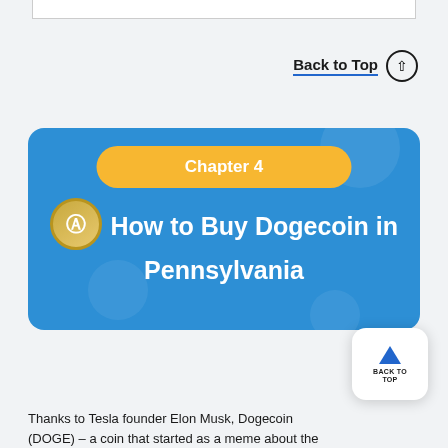Back to Top ↑
[Figure (illustration): Chapter 4 banner with blue background, yellow pill containing 'Chapter 4', Dogecoin logo, and white text reading 'How to Buy Dogecoin in Pennsylvania']
Thanks to Tesla founder Elon Musk, Dogecoin (DOGE) – a coin that started as a meme about the